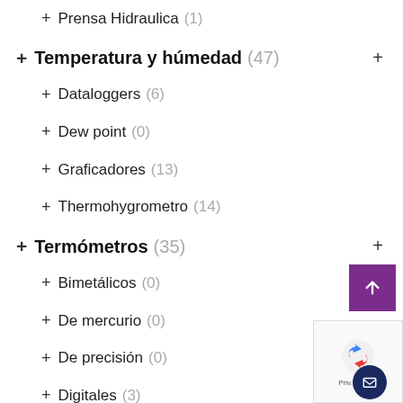+ Prensa Hidraulica (1)
+ Temperatura y húmedad (47)
+ Dataloggers (6)
+ Dew point (0)
+ Graficadores (13)
+ Thermohygrometro (14)
+ Termómetros (35)
+ Bimetálicos (0)
+ De mercurio (0)
+ De precisión (0)
+ Digitales (3)
+ Thermocoples (19)